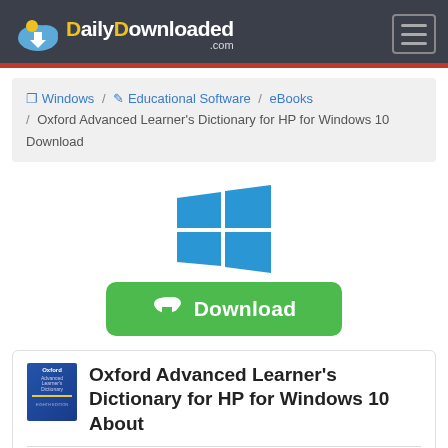DailyDownloaded.com
Windows / Educational Software / eBooks / Oxford Advanced Learner's Dictionary for HP for Windows 10 Download
[Figure (logo): Windows logo — four blue squares in a perspective grid layout]
[Figure (other): Green Download button with cloud-download icon]
Oxford Advanced Learner's Dictionary for HP for Windows 10 About
Oxford Advanced Learner's Dictionary for HP for Windows